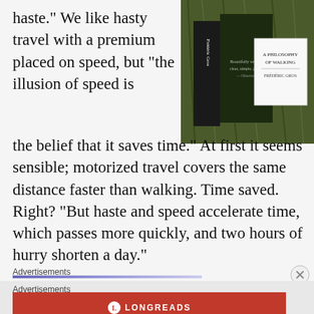haste.” We like hasty travel with a premium placed on speed, but “the illusion of speed is the belief that it saves time.” At first it seems sensible; motorized travel covers the same distance faster than walking. Time saved. Right? “But haste and speed accelerate time, which passes more quickly, and two hours of hurry shorten a day.”
[Figure (photo): Book cover photo of 'A Philosophy of Walking' by Frederic Gros, showing the book and its white dust jacket on a grassy background]
Advertisements
[Figure (infographic): Longreads advertisement banner with red background: 'The best stories on the web – ours, and everyone else’s.']